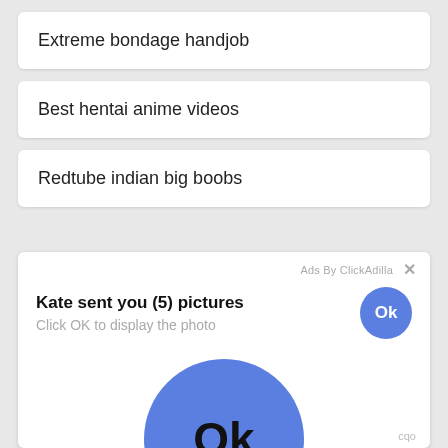Extreme bondage handjob
Best hentai anime videos
Redtube indian big boobs
[Figure (screenshot): Ad overlay showing 'Kate sent you (5) pictures. Click OK to display the photo' with a small blue Ok button and a large blue Ok circle button. 'Ads By ClickAdilla' label and X close button at top right. 'cqo' text at bottom right.]